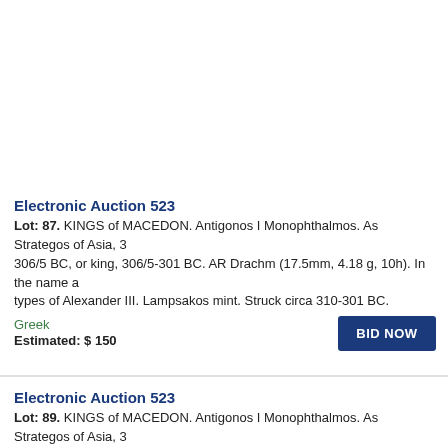Electronic Auction 523
Lot: 87. KINGS of MACEDON. Antigonos I Monophthalmos. As Strategos of Asia, 306/5 BC, or king, 306/5-301 BC. AR Drachm (17.5mm, 4.18 g, 10h). In the name and types of Alexander III. Lampsakos mint. Struck circa 310-301 BC.
Greek
Estimated: $ 150
Electronic Auction 523
Lot: 89. KINGS of MACEDON. Antigonos I Monophthalmos. As Strategos of Asia, 306/5 BC, or king, 306/5-301 BC. AR Drachm (16.5mm, 4.16 g, 7h). In the name and types of Alexander III. Lampsakos mint. Struck circa 310-301 BC.
Greek
Estimated: $ 100